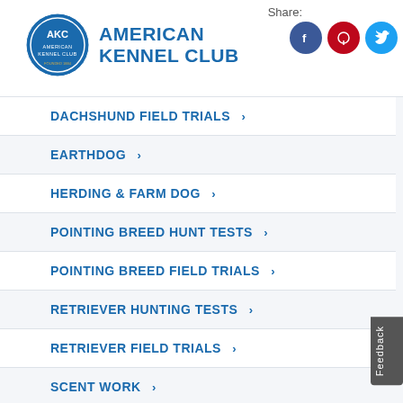American Kennel Club — Share: [Facebook] [Pinterest] [Twitter]
DACHSHUND FIELD TRIALS >
EARTHDOG >
HERDING & FARM DOG >
POINTING BREED HUNT TESTS >
POINTING BREED FIELD TRIALS >
RETRIEVER HUNTING TESTS >
RETRIEVER FIELD TRIALS >
SCENT WORK >
SPANIELS & FLUSHING BREEDS HUNTING TESTS >
SPANIELS & FLUSHING BREEDS FIELD TRIALS >